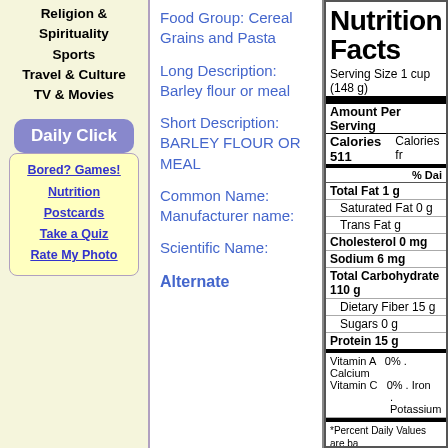Religion & Spirituality
Sports
Travel & Culture
TV & Movies
Daily Click
Bored? Games!
Nutrition
Postcards
Take a Quiz
Rate My Photo
Food Group: Cereal Grains and Pasta
Long Description: Barley flour or meal
Short Description: BARLEY FLOUR OR MEAL
Common Name: Manufacturer name:
Scientific Name:
Alternate
Nutrition Facts
Serving Size 1 cup (148 g)
Amount Per Serving
Calories 511   Calories fr
% Dai
Total Fat 1 g
Saturated Fat 0 g
Trans Fat g
Cholesterol 0 mg
Sodium 6 mg
Total Carbohydrate 110 g
Dietary Fiber 15 g
Sugars 0 g
Protein 15 g
Vitamin A 0% . Calcium
Vitamin C 0% . Iron
. Potassium
*Percent Daily Values are based on a 2,000 calorie diet. Your daily values may be higher or lower depending on your calorie needs:
|  | Less than | 65g |
| --- | --- | --- |
| Total Fat | Less than | 65g |
| Calories | 2,000 |  |